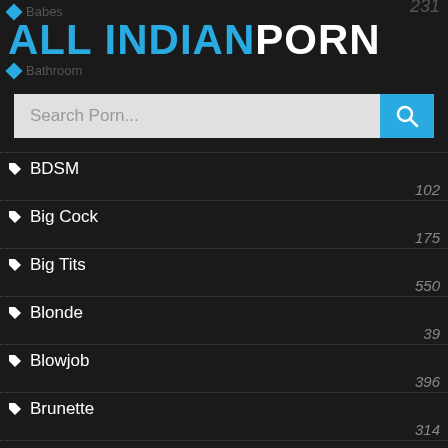Babes
ALL INDIANPORN
Bathroom 231
BDSM 102
Big Cock 175
Big Tits 550
Blonde 39
Blowjob 396
Brunette 314
Car 54
Casting 35
Celebrities 91
Chubby 49